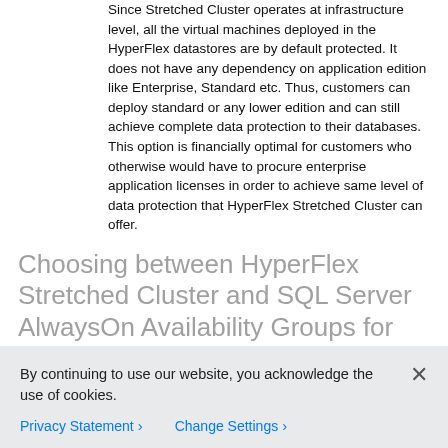Since Stretched Cluster operates at infrastructure level, all the virtual machines deployed in the HyperFlex datastores are by default protected. It does not have any dependency on application edition like Enterprise, Standard etc. Thus, customers can deploy standard or any lower edition and can still achieve complete data protection to their databases. This option is financially optimal for customers who otherwise would have to procure enterprise application licenses in order to achieve same level of data protection that HyperFlex Stretched Cluster can offer.
Choosing between HyperFlex Stretched Cluster and SQL Server AlwaysOn Availability Groups for Data Protection
Microsoft SQL Server AlwaysOn Availability Group feature provides high availability and disaster recovery capabilities to the databases. In terms of data protection offering, there is an overlap between HyperFlex Stretched Cluster and SQL server AlwaysOn
By continuing to use our website, you acknowledge the use of cookies.
Privacy Statement › Change Settings ›